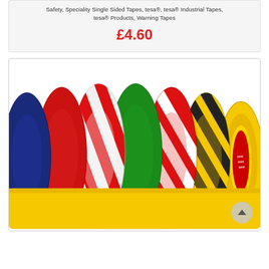Safety, Speciality Single Sided Tapes, tesa®, tesa® Industrial Tapes, tesa® Products, Warning Tapes
£4.60
[Figure (photo): Multiple rolls of coloured warning/safety adhesive tapes including yellow-blue, red, red-white, green, red-white striped, yellow-black striped, and yellow varieties, arranged in a fan/stack, photographed on a white background.]